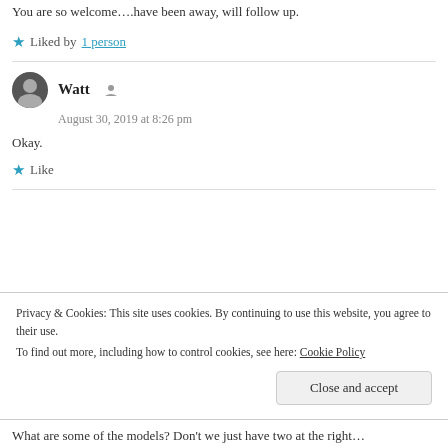You are so welcome….have been away, will follow up.
★ Liked by 1 person
Watt  August 30, 2019 at 8:26 pm
Okay.
★ Like
Privacy & Cookies: This site uses cookies. By continuing to use this website, you agree to their use. To find out more, including how to control cookies, see here: Cookie Policy
Close and accept
What are some of the models? Don't we just have two at the right…